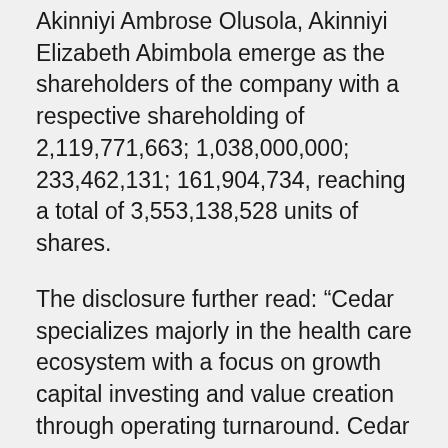Akinniyi Ambrose Olusola, Akinniyi Elizabeth Abimbola emerge as the shareholders of the company with a respective shareholding of 2,119,771,663; 1,038,000,000; 233,462,131; 161,904,734, reaching a total of 3,553,138,528 units of shares.
The disclosure further read: “Cedar specializes majorly in the health care ecosystem with a focus on growth capital investing and value creation through operating turnaround. Cedar Advisory Partners Limited holds 59.66 per cent shareholdings in the company following the acquisition. Lifecare Partners Limited is an accredited HMO in Nigeria, holding 29.21per cent shareholding in Union Diagnostics Plc. Dr. Akinniyi Olusola, a Director of Union